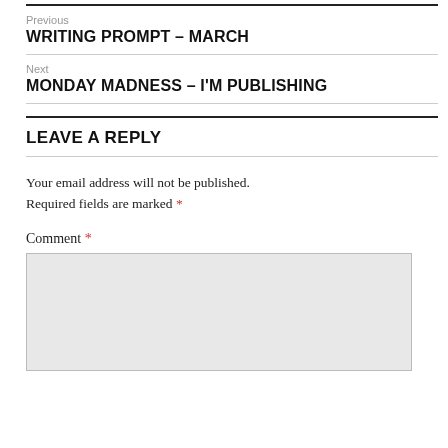Previous
WRITING PROMPT – MARCH
Next
MONDAY MADNESS – I'M PUBLISHING
LEAVE A REPLY
Your email address will not be published. Required fields are marked *
Comment *